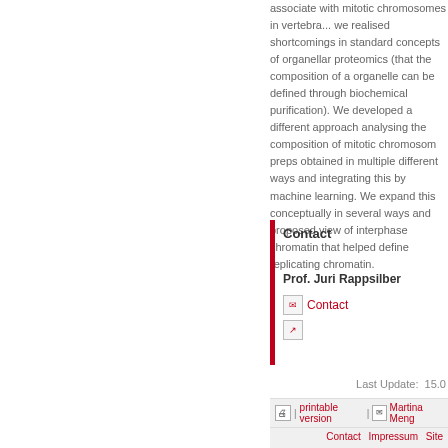associate with mitotic chromosomes in vertebra... we realised shortcomings in standard concepts of organellar proteomics (that the composition of an organelle can be defined through biochemical purification). We developed a different approach: analysing the composition of mitotic chromosome preps obtained in multiple different ways and integrating this by machine learning. We expanded this conceptually in several ways and proposed a view of interphase chromatin that helped define replicating chromatin.
Contact
Prof. Juri Rappsilber
Contact
Last Update:  15.0...
printable version | Martina Meng... | Contact  Impressum  Site... | Deutsch  Index A-Z  Mobil  Datens...